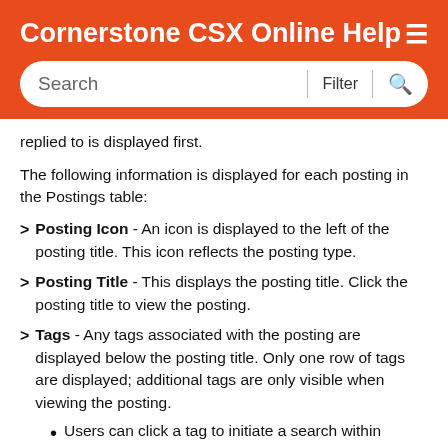Cornerstone CSX Online Help
replied to is displayed first.
The following information is displayed for each posting in the Postings table:
Posting Icon - An icon is displayed to the left of the posting title. This icon reflects the posting type.
Posting Title - This displays the posting title. Click the posting title to view the posting.
Tags - Any tags associated with the posting are displayed below the posting title. Only one row of tags are displayed; additional tags are only visible when viewing the posting.
Users can click a tag to initiate a search within Global Search for all postings that contain the selected tag. Users can only view postings which they can access. Note: The ability to click